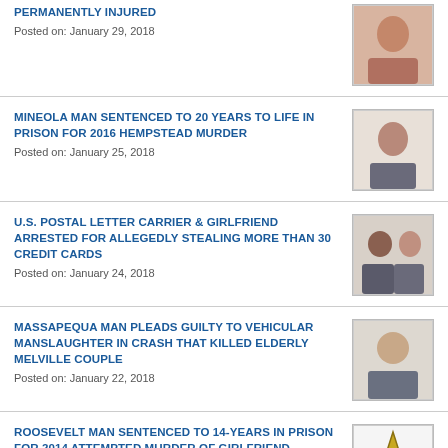PERMANENTLY INJURED
Posted on: January 29, 2018
MINEOLA MAN SENTENCED TO 20 YEARS TO LIFE IN PRISON FOR 2016 HEMPSTEAD MURDER
Posted on: January 25, 2018
U.S. POSTAL LETTER CARRIER & GIRLFRIEND ARRESTED FOR ALLEGEDLY STEALING MORE THAN 30 CREDIT CARDS
Posted on: January 24, 2018
MASSAPEQUA MAN PLEADS GUILTY TO VEHICULAR MANSLAUGHTER IN CRASH THAT KILLED ELDERLY MELVILLE COUPLE
Posted on: January 22, 2018
ROOSEVELT MAN SENTENCED TO 14-YEARS IN PRISON FOR 2014 ATTEMPTED MURDER OF GIRLFRIEND